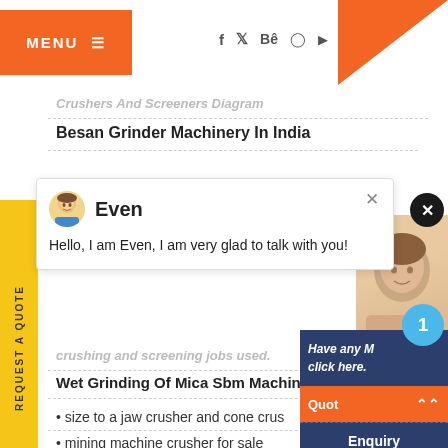MENU | f y Be Pinterest YouTube
Crushers And Screeners Diagram
Besan Grinder Machinery In India
crushing and screening jobs used.
Wet Grinding Of Mica Sbm Machine
size to a jaw crusher and cone crus
mining machine crusher for sale
[Figure (screenshot): Chat popup with avatar of Even saying: Hello, I am Even, I am very glad to talk with you!]
[Figure (photo): Person photo on right side]
Have any M click here.
Quote
Enquiry
drobilkalm